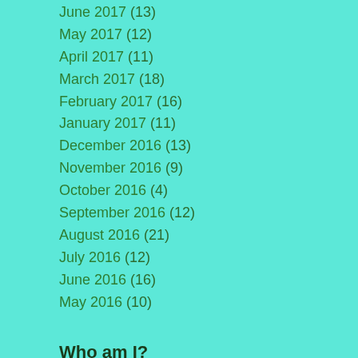June 2017 (13)
May 2017 (12)
April 2017 (11)
March 2017 (18)
February 2017 (16)
January 2017 (11)
December 2016 (13)
November 2016 (9)
October 2016 (4)
September 2016 (12)
August 2016 (21)
July 2016 (12)
June 2016 (16)
May 2016 (10)
Who am I?
I am a broken person, full of cracks and holes, put back